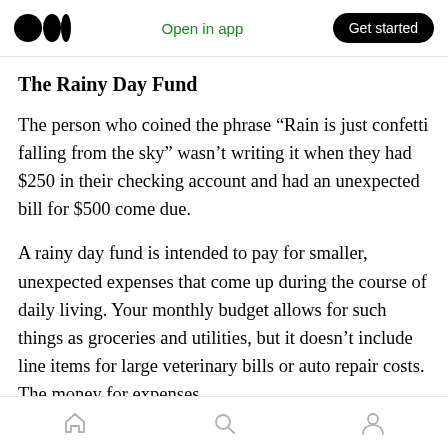Open in app  Get started
The Rainy Day Fund
The person who coined the phrase “Rain is just confetti falling from the sky” wasn’t writing it when they had $250 in their checking account and had an unexpected bill for $500 come due.
A rainy day fund is intended to pay for smaller, unexpected expenses that come up during the course of daily living. Your monthly budget allows for such things as groceries and utilities, but it doesn’t include line items for large veterinary bills or auto repair costs. The money for expenses
home  search  profile